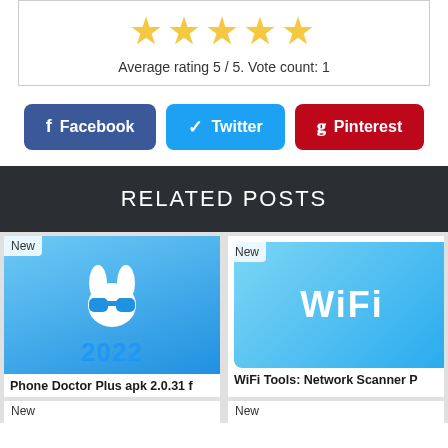[Figure (other): Five gold stars rating widget]
Average rating 5 / 5. Vote count: 1
Facebook  Twitter  Pinterest (share buttons)
RELATED POSTS
[Figure (other): Phone Doctor Plus app icon with bunny graphic and 2022 text]
Phone Doctor Plus apk 2.0.31 f
[Figure (other): WiFi Tools Network Scanner app icon with WiFi text]
WiFi Tools: Network Scanner P